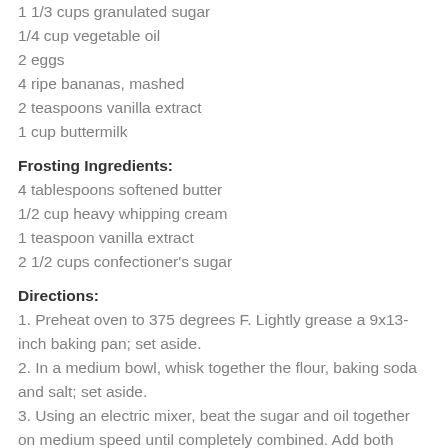1 1/3 cups granulated sugar
1/4 cup vegetable oil
2 eggs
4 ripe bananas, mashed
2 teaspoons vanilla extract
1 cup buttermilk
Frosting Ingredients:
4 tablespoons softened butter
1/2 cup heavy whipping cream
1 teaspoon vanilla extract
2 1/2 cups confectioner's sugar
Directions:
1. Preheat oven to 375 degrees F. Lightly grease a 9x13-inch baking pan; set aside.
2. In a medium bowl, whisk together the flour, baking soda and salt; set aside.
3. Using an electric mixer, beat the sugar and oil together on medium speed until completely combined. Add both eggs and beat to combine, then add the mashed bananas and vanilla extract and beat until combined. Reduce the speed to low and add flour alternately with buttermilk, and beating until combined.